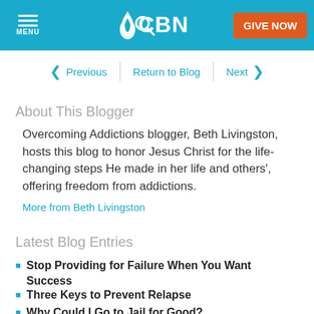CBN — MENU | Search | GIVE NOW
Previous | Return to Blog | Next
About This Blogger
Overcoming Addictions blogger, Beth Livingston, hosts this blog to honor Jesus Christ for the life-changing steps He made in her life and others', offering freedom from addictions.
More from Beth Livingston
Latest Blog Entries
Stop Providing for Failure When You Want Success
Three Keys to Prevent Relapse
Why Could I Go to Jail for Good?